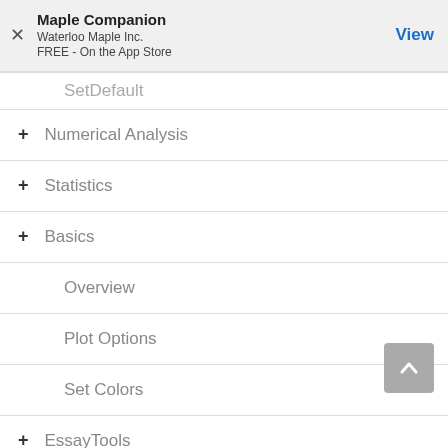Maple Companion
Waterloo Maple Inc.
FREE - On the App Store
SetDefault
+ Numerical Analysis
+ Statistics
+ Basics
Overview
Plot Options
Set Colors
+ EssayTools
+ Grading
+ Study Guide (partial)